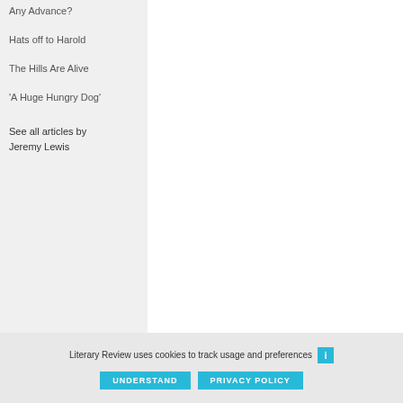Any Advance?
Hats off to Harold
The Hills Are Alive
‘A Huge Hungry Dog’
See all articles by Jeremy Lewis
Literary Review uses cookies to track usage and preferences
UNDERSTAND
PRIVACY POLICY